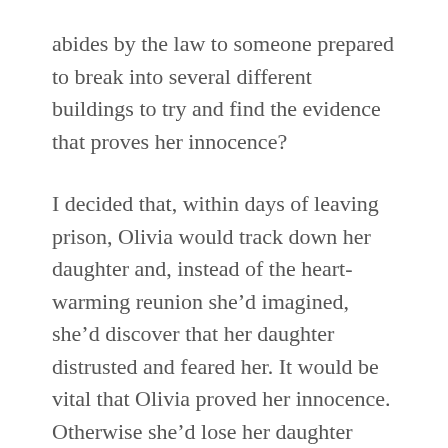abides by the law to someone prepared to break into several different buildings to try and find the evidence that proves her innocence?
I decided that, within days of leaving prison, Olivia would track down her daughter and, instead of the heart-warming reunion she'd imagined, she'd discover that her daughter distrusted and feared her. It would be vital that Olivia proved her innocence. Otherwise she'd lose her daughter forever.